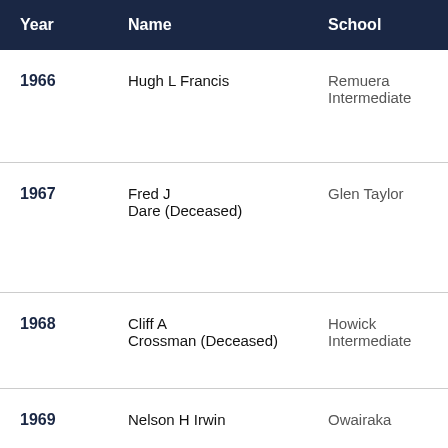| Year | Name | School | Top |
| --- | --- | --- | --- |
| 1966 | Hugh L Francis | Remuera Intermediate | Con edu Prim III |
| 1967 | Fred J Dare (Deceased) | Glen Taylor | Tea Eng prim elem scho |
| 1968 | Cliff A Crossman (Deceased) | Howick Intermediate | The art o prin |
| 1969 | Nelson H Irwin | Owairaka | Equ |